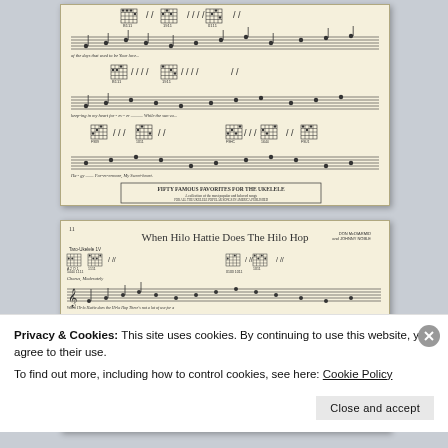[Figure (other): Scanned page from a ukulele sheet music book showing musical notation with ukulele chord diagrams, staff lines, and lyrics. Text includes 'of the days that used to be', 'Your love', 'keeping in my heart for-ev-er', 'While the sun...' and 'Ha-gy', 'For-ev-ermore, My Sweetheart'. Bottom box reads 'FIFTY FAMOUS FAVORITES FOR THE UKELELE'.]
[Figure (other): Scanned page from a sheet music book showing 'When Hilo Hattie Does The Hilo Hop' with ukulele chord diagrams (Gm7, C7, F, etc.), staff lines, musical notation, and lyrics. Credits: Don McDiarmid and Johnny Noble. Lyrics include 'When Hilo Hattie does the Hilo Hop There's not a lot of use for a habit rog—' and 'For every thing and every body comes to a stop— When'.]
Privacy & Cookies: This site uses cookies. By continuing to use this website, you agree to their use.
To find out more, including how to control cookies, see here: Cookie Policy
Close and accept